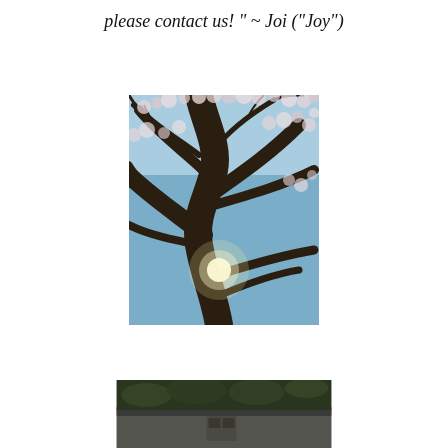please contact us! " ~ Joi ("Joy")
[Figure (photo): Upward-looking photograph of a cherry blossom tree with dark branches spreading across a blue sky, with the sun visible shining through the branches and blossoms]
[Figure (photo): Partial photograph at the bottom of the page showing a rooftop or building structure with trees or foliage visible]